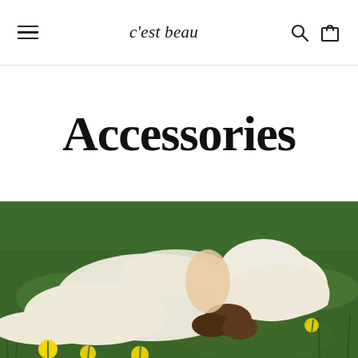c'est beau
Accessories
[Figure (photo): A person in a cream-colored outfit and white cap lying face-down on green grass with yellow dandelions]